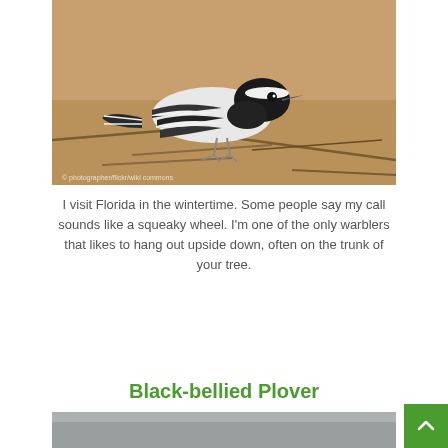[Figure (photo): Black and white warbler bird standing on sandy ground with twigs and leaf litter]
I visit Florida in the wintertime. Some people say my call sounds like a squeaky wheel. I’m one of the only warblers that likes to hang out upside down, often on the trunk of your tree.
Black-bellied Plover
[Figure (photo): Partial view of Black-bellied Plover bird photo, mostly gray]